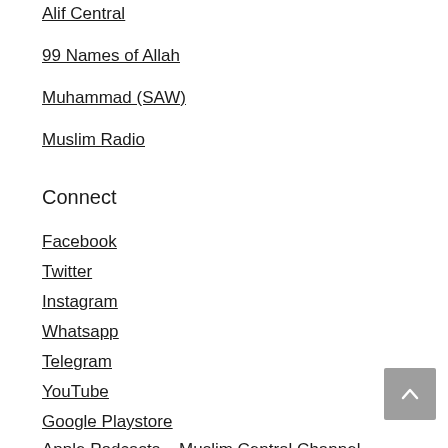Alif Central
99 Names of Allah
Muhammad (SAW)
Muslim Radio
Connect
Facebook
Twitter
Instagram
Whatsapp
Telegram
YouTube
Google Playstore
Apple Podcasts – Muslim Central Channel